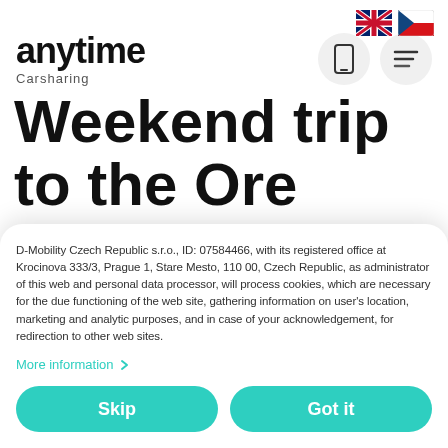[Figure (logo): Anytime Carsharing logo with smartphone icon button and hamburger menu button, plus UK and Czech Republic flag icons]
Weekend trip to the Ore Mountains (not only) for cyclists
D-Mobility Czech Republic s.r.o., ID: 07584466, with its registered office at Krocinova 333/3, Prague 1, Stare Mesto, 110 00, Czech Republic, as administrator of this web and personal data processor, will process cookies, which are necessary for the due functioning of the web site, gathering information on user's location, marketing and analytic purposes, and in case of your acknowledgement, for redirection to other web sites.
More information
Skip
Got it